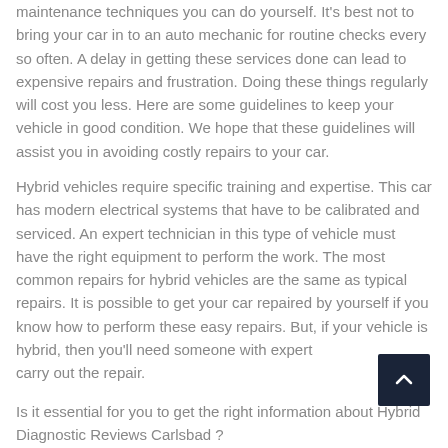maintenance techniques you can do yourself. It's best not to bring your car in to an auto mechanic for routine checks every so often. A delay in getting these services done can lead to expensive repairs and frustration. Doing these things regularly will cost you less. Here are some guidelines to keep your vehicle in good condition. We hope that these guidelines will assist you in avoiding costly repairs to your car.
Hybrid vehicles require specific training and expertise. This car has modern electrical systems that have to be calibrated and serviced. An expert technician in this type of vehicle must have the right equipment to perform the work. The most common repairs for hybrid vehicles are the same as typical repairs. It is possible to get your car repaired by yourself if you know how to perform these easy repairs. But, if your vehicle is hybrid, then you'll need someone with expertise to carry out the repair.
Is it essential for you to get the right information about Hybrid Diagnostic Reviews Carlsbad ?